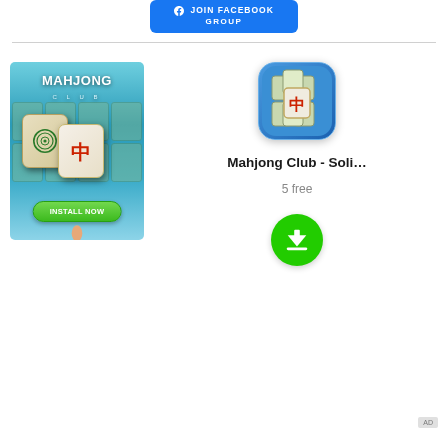[Figure (screenshot): Blue Facebook 'Join Facebook Group' button at the top of the page]
[Figure (illustration): Mahjong Club game advertisement showing mahjong tiles on a blue background with 'INSTALL NOW' button and hand pointer. Right side shows app icon, name 'Mahjong Club - Soli...', '5 free', and a green download button.]